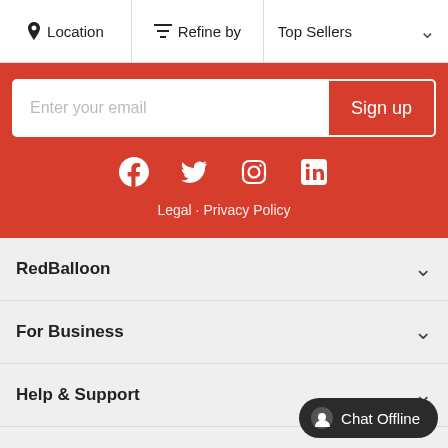Location | Refine by | Top Sellers
[Figure (screenshot): Email signup form on red background with 'Enter your email' input and 'Sign up' button]
[Figure (infographic): Social media icons: Facebook, Twitter, Instagram, LinkedIn]
Legal · Privacy Policy
RedBalloon
For Business
Help & Support
Suppliers
Chat Offline